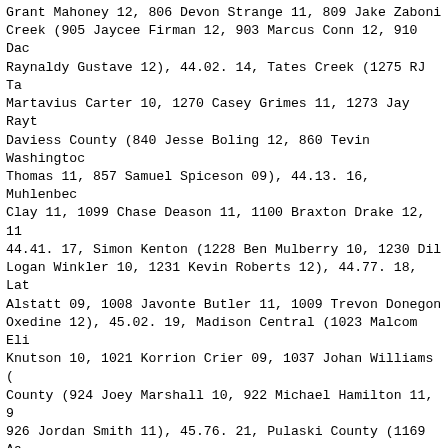Grant Mahoney 12, 806 Devon Strange 11, 809 Jake Zaboni Creek (905 Jaycee Firman 12, 903 Marcus Conn 12, 910 Dac Raynaldy Gustave 12), 44.02. 14, Tates Creek (1275 RJ Ta Martavius Carter 10, 1270 Casey Grimes 11, 1273 Jay Rayt Daviess County (840 Jesse Boling 12, 860 Tevin Washingtoc Thomas 11, 857 Samuel Spiceson 09), 44.13. 16, Muhlenbec Clay 11, 1099 Chase Deason 11, 1100 Braxton Drake 12, 11 44.41. 17, Simon Kenton (1228 Ben Mulberry 10, 1230 Dil Logan Winkler 10, 1231 Kevin Roberts 12), 44.77. 18, Lat Alstatt 09, 1008 Javonte Butler 11, 1009 Trevon Donegon Oxedine 12), 45.02. 19, Madison Central (1023 Malcom Eli Knutson 10, 1021 Korrion Crier 09, 1037 Johan Williams ( County (924 Joey Marshall 10, 922 Michael Hamilton 11, 9 926 Jordan Smith 11), 45.76. 21, Pulaski County (1169 Aa Thomas Gholson 11, 1174 Jake Hudson 11, 1172 George Greg Scott County (1213 Jervon Christopher 12, 1218 Shaun Hay Doss 12, 1221 Jake Sabol 11), DNF.
Girls 400 Meter Dash CLASS 3A
1, 276 Taylor Bradley, Eastern, 55.36K. 2, 154 Labi Fra: 56.15@. 3, 446 Kianna Gray, North Hardin, 56.19@. 4, 628 Waggener, 57.47. 5, 585 Christina Cook, Simon Kenton, 57 Dickerson, John Hardin, 58.44. 7, 205 Tameka Alexander, 58.74. 8, 403 Jazlyn Rowan, Male, 59.00. 9, 500 Summer W 59.06. 10, 519 Laura Edwards, Paul Dunbar, 59.07. 11, 40 Male, 59.17. 12, 266 Mary King, Dupont Manual, 59.29. 13 Marshall County, 59.56. 14, 199 Ashlie Mercado, Central Julia Henderson, Cooper, 59.78. 16, 158 Shania Lyvers, B 17, 145 Morgan Smith, Bowling Green, 1:00.60. 18, 265 La Manual, 1:01.02. 19, 455 Alexis Shelby, North Hardin, 1 Ochs, Dixie Heights, 1:03.21. 21, 359 Katie King, Linco